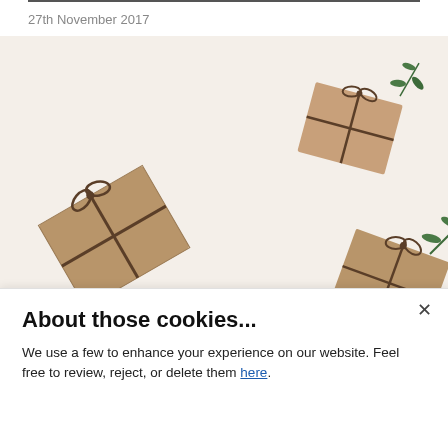27th November 2017
[Figure (photo): Three kraft paper wrapped gift boxes tied with twine and decorated with evergreen sprigs, arranged on white background with a red diagonal banner overlay reading 'A Holiday Gift Guide to Delight Your Favorite Digital Marketer']
[Figure (logo): Delightful Communications logo: red circle with letter d and map pin icon, with text 'delightful communications']
Winter is a time of celebration and friends and family often exchange gifts. No matter what holidays you
About those cookies...
We use a few to enhance your experience on our website. Feel free to review, reject, or delete them here.